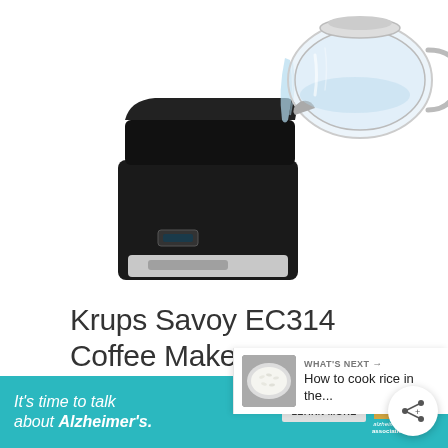[Figure (photo): Krups Savoy EC314 coffee maker product photo showing black coffee machine base with water being poured from a clear glass carafe from the right side, on white background]
Krups Savoy EC314 Coffee Maker
· 12 Cup Glass Carafe
[Figure (infographic): Share button overlay (circular white button with share icon and plus symbol)]
[Figure (infographic): What's Next panel with thumbnail of rice and text 'WHAT'S NEXT → How to cook rice in the...']
[Figure (infographic): Advertisement banner: teal background with text 'It's time to talk about Alzheimer's.' LEARN MORE button, Alzheimer's association logo, AL badge with X close, and weather app icon]